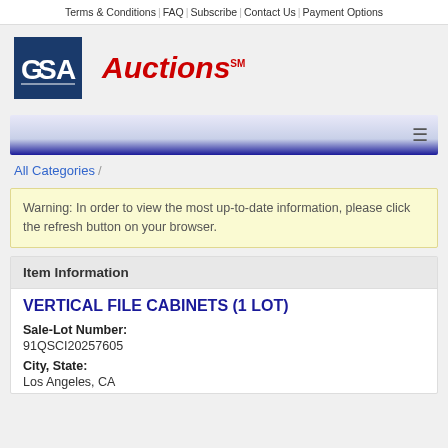Terms & Conditions | FAQ | Subscribe | Contact Us | Payment Options
[Figure (logo): GSA Auctions logo — blue square with GSA text in white, followed by 'Auctions' in red italic with SM superscript]
≡ (hamburger menu icon)
All Categories /
Warning: In order to view the most up-to-date information, please click the refresh button on your browser.
Item Information
VERTICAL FILE CABINETS (1 LOT)
Sale-Lot Number:
91QSCI20257605
City, State:
Los Angeles, CA